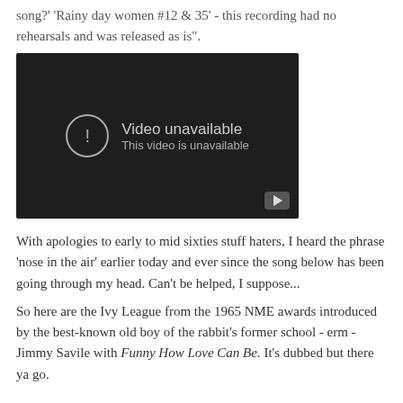song?' 'Rainy day women #12 & 35' - this recording had no rehearsals and was released as is".
[Figure (screenshot): Embedded YouTube video player showing 'Video unavailable - This video is unavailable' error message on dark background with YouTube play button icon in bottom right corner.]
With apologies to early to mid sixties stuff haters, I heard the phrase 'nose in the air' earlier today and ever since the song below has been going through my head. Can't be helped, I suppose...
So here are the Ivy League from the 1965 NME awards introduced by the best-known old boy of the rabbit's former school - erm - Jimmy Savile with Funny How Love Can Be. It's dubbed but there ya go.